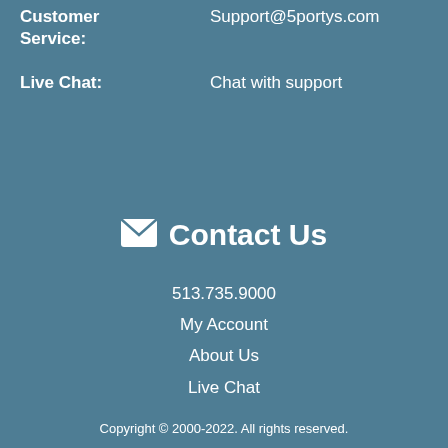Customer Service: Support@5sportys.com
Live Chat: Chat with support
Contact Us
513.735.9000
My Account
About Us
Live Chat
Copyright © 2000-2022. All rights reserved.